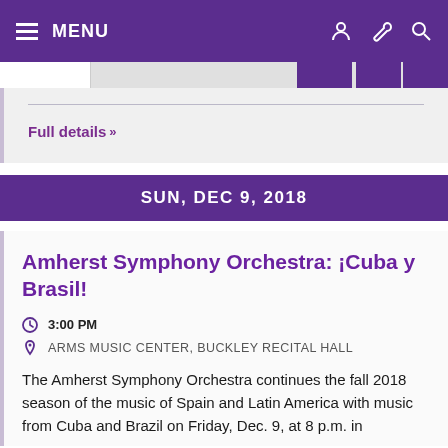MENU
Full details »
SUN, DEC 9, 2018
Amherst Symphony Orchestra: ¡Cuba y Brasil!
3:00 PM
ARMS MUSIC CENTER, BUCKLEY RECITAL HALL
The Amherst Symphony Orchestra continues the fall 2018 season of the music of Spain and Latin America with music from Cuba and Brazil on Friday, Dec. 9, at 8 p.m. in